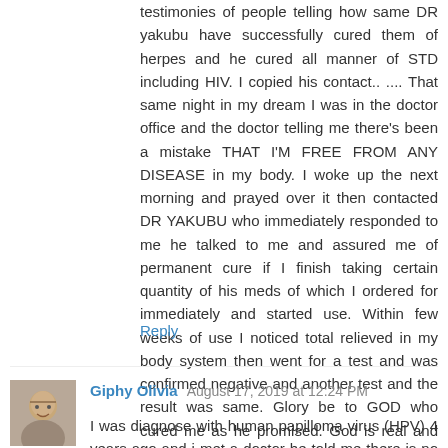testimonies of people telling how same DR yakubu have successfully cured them of herpes and he cured all manner of STD including HIV. I copied his contact.. .... That same night in my dream I was in the doctor office and the doctor telling me there's been a mistake THAT I'M FREE FROM ANY DISEASE in my body. I woke up the next morning and prayed over it then contacted DR YAKUBU who immediately responded to me he talked to me and assured me of permanent cure if I finish taking certain quantity of his meds of which I ordered for immediately and started use. Within few weeks of use I noticed total relieved in my body system then went for a test and was confirmed negative and another test and the result was same. Glory be to GOD who cured me as he promised. God is real and he still saves humans through fellow humans. Reach DR YAKUBU through his e-mail;dryakubuherbalhealingclinic@gmail.com
Reply
Giphy Olivia  August 17, 2019 at 12:24 PM
I was diagnose with human papilloma virus (HPV) 4 years ago and i met a doctor he told me there is no cure and i